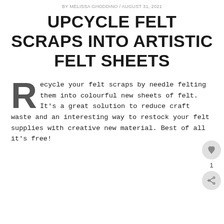BY MELISSA GHODDINO / AUGUST 31, 2021
UPCYCLE FELT SCRAPS INTO ARTISTIC FELT SHEETS
Recycle your felt scraps by needle felting them into colourful new sheets of felt. It's a great solution to reduce craft waste and an interesting way to restock your felt supplies with creative new material. Best of all it's free!